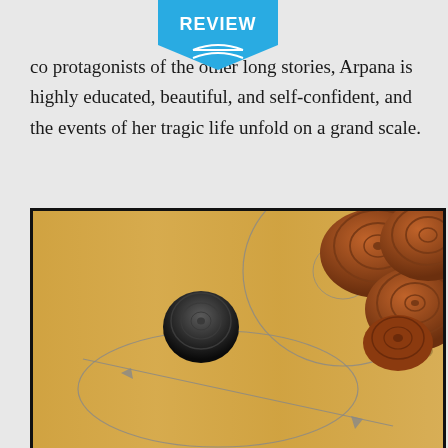REVIEW
co... protagonists of the other long stories, Arpana is highly educated, beautiful, and self-confident, and the events of her tragic life unfold on a grand scale.
[Figure (photo): Close-up photograph of a carrom board showing wooden game pieces (carrom men) — one black piece in the center-left area and several brown/red pieces clustered in the top-right corner — on a light wooden board surface with circular line markings drawn on the board.]